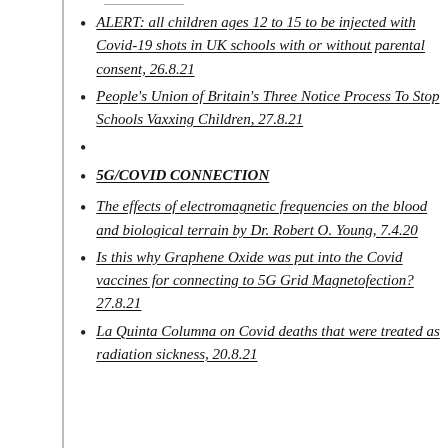ALERT: all children ages 12 to 15 to be injected with Covid-19 shots in UK schools with or without parental consent, 26.8.21
People's Union of Britain's Three Notice Process To Stop Schools Vaxxing Children, 27.8.21
5G/COVID CONNECTION
The effects of electromagnetic frequencies on the blood and biological terrain by Dr. Robert O. Young, 7.4.20
Is this why Graphene Oxide was put into the Covid vaccines for connecting to 5G Grid Magnetofection? 27.8.21
La Quinta Columna on Covid deaths that were treated as radiation sickness, 20.8.21